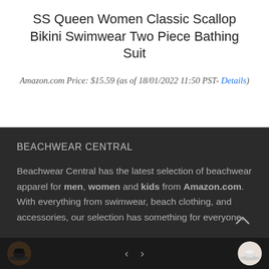SS Queen Women Classic Scallop Bikini Swimwear Two Piece Bathing Suit
Amazon.com Price: $15.59 (as of 18/01/2022 11:50 PST- Details)
BEACHWEAR CENTRAL
Beachwear Central has the latest selection of beachwear apparel for men, women and kids from Amazon.com. With everything from swimwear, beach clothing, and accessories, our selection has something for everyone.
< >